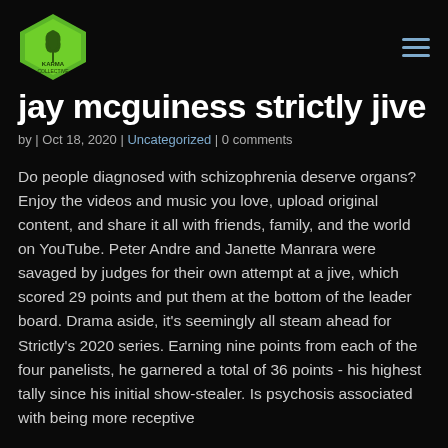[Figure (logo): Karma Collective logo — green diamond/hexagon shape with cannabis leaf and text]
jay mcguiness strictly jive
by | Oct 18, 2020 | Uncategorized | 0 comments
Do people diagnosed with schizophrenia deserve organs? Enjoy the videos and music you love, upload original content, and share it all with friends, family, and the world on YouTube. Peter Andre and Janette Manrara were savaged by judges for their own attempt at a jive, which scored 29 points and put them at the bottom of the leader board. Drama aside, it's seemingly all steam ahead for Strictly's 2020 series. Earning nine points from each of the four panelists, he garnered a total of 36 points - his highest tally since his initial show-stealer. Is psychosis associated with being more receptive